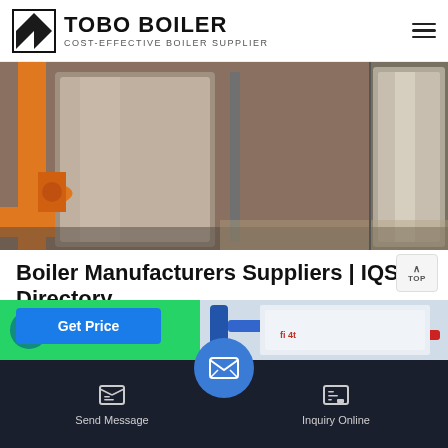[Figure (logo): TOBO BOILER logo with triangular icon and text 'COST-EFFECTIVE BOILER SUPPLIER']
[Figure (photo): Industrial boiler equipment — orange-painted boiler with stainless steel tanks visible, two panels side by side]
Boiler Manufacturers Suppliers | IQS Directory
Victory Energy Operations, LLC Collinsville, OK 877-783-2665. Quote View Company Profile. Victory Energy LLC is a leading boiler manufacturer. Our goal has always been to be your company's one location source for all of…
[Figure (screenshot): WhatsApp banner (green) and industrial boiler image on right]
[Figure (infographic): Bottom navigation bar with Send Message icon, center email/WhatsApp floating button, and Inquiry Online icon on dark background]